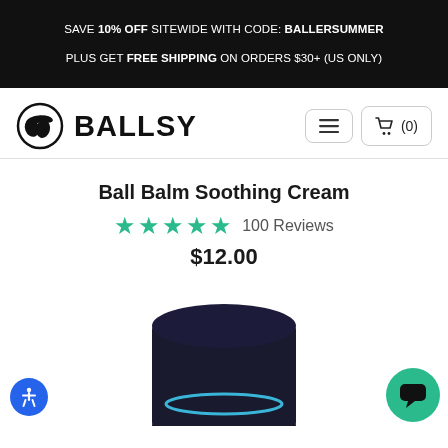SAVE 10% OFF SITEWIDE WITH CODE: BALLERSUMMER PLUS GET FREE SHIPPING ON ORDERS $30+ (US ONLY)
[Figure (logo): Ballsy brand logo with acorn icon in circle and bold BALLSY text]
Ball Balm Soothing Cream
★★★★★ 100 Reviews
$12.00
[Figure (photo): Product image of Ball Balm Soothing Cream dark container, partially visible at bottom of page]